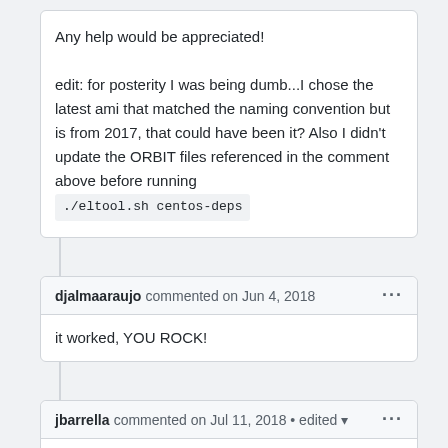Any help would be appreciated!

edit: for posterity I was being dumb...I chose the latest ami that matched the naming convention but is from 2017, that could have been it? Also I didn't update the ORBIT files referenced in the comment above before running
./eltool.sh centos-deps
djalmaaraujo commented on Jun 4, 2018
it worked, YOU ROCK!
jbarrella commented on Jul 11, 2018 • edited
As of June 2018, the Orbit install paths in eltool.sh need to be edited as: